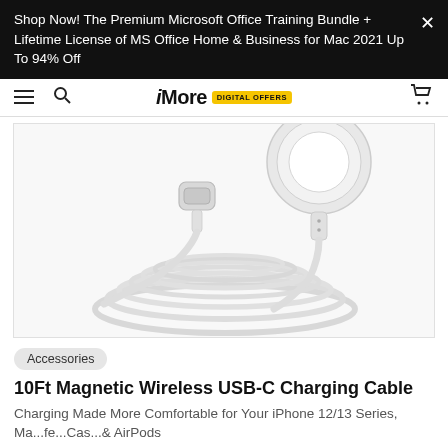Shop Now! The Premium Microsoft Office Training Bundle + Lifetime License of MS Office Home & Business for Mac 2021 Up To 94% Off
iMore DIGITAL OFFERS
[Figure (photo): 10Ft Magnetic Wireless USB-C Charging Cable product photo on white background, showing circular MagSafe-style charger puck and coiled white cable with USB-C connector]
Accessories
10Ft Magnetic Wireless USB-C Charging Cable
Charging Made More Comfortable for Your iPhone 12/13 Series, Ma...fe...Cas...& AirPods